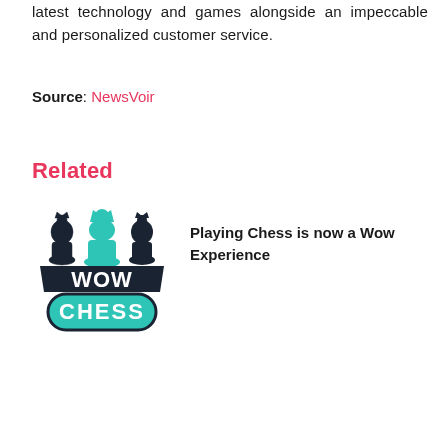latest technology and games alongside an impeccable and personalized customer service.
Source: NewsVoir
Related
[Figure (logo): WOW Chess logo featuring three chess pieces (pawns/queens) with teal center piece and dark outline pieces on sides, with 'WOW' in bold dark banner and 'CHESS' in teal bubble text below]
Playing Chess is now a Wow Experience